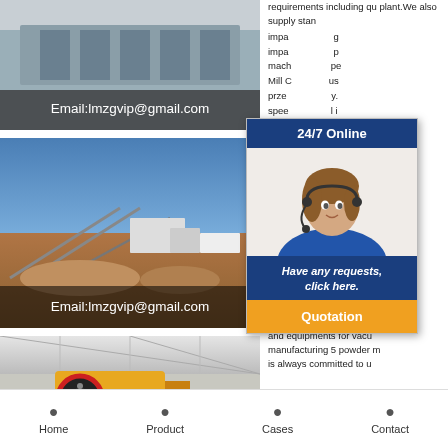[Figure (photo): Industrial equipment/machinery photo with email overlay]
Email:lmzgvip@gmail.com
[Figure (photo): Outdoor mining/quarry conveyor equipment under blue sky with email overlay]
Email:lmzgvip@gmail.com
[Figure (photo): Indoor factory with yellow jaw crusher machinery]
requirements including qu plant.We also supply stan
impa g impa p mach pe Mill C us prze y. spee l i is up ~5
[Figure (infographic): 24/7 Online chat popup with customer service representative, Have any requests click here, and Quotation button]
Impa g Talcum Powder Manufact Products Jet Mill Impact M and equipments for vacu manufacturing 5 powder m is always committed to u
Home   Product   Cases   Contact